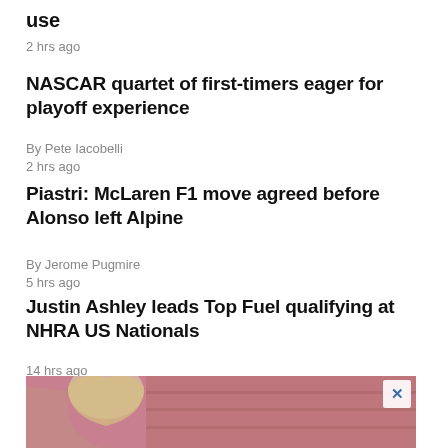use
2 hrs ago
NASCAR quartet of first-timers eager for playoff experience
By Pete Iacobelli
2 hrs ago
Piastri: McLaren F1 move agreed before Alonso left Alpine
By Jerome Pugmire
5 hrs ago
Justin Ashley leads Top Fuel qualifying at NHRA US Nationals
14 hrs ago
[Figure (photo): Advertisement banner with a woman with blonde hair against a pink/reddish background, with a close (X) button in the upper right corner]